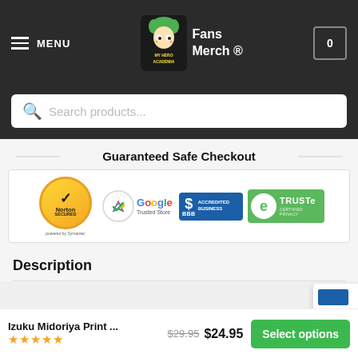MENU | Fans Merch® | Cart 0
Search products...
Guaranteed Safe Checkout
[Figure (logo): Guaranteed Safe Checkout badges: Norton Secured (powered by Symantec), Google Trusted Store, BBB Accredited Business, TRUSTe Certified Privacy]
Description
Izuku Midoriya Print ...
★★★★★ $29.95 $24.95 Select options